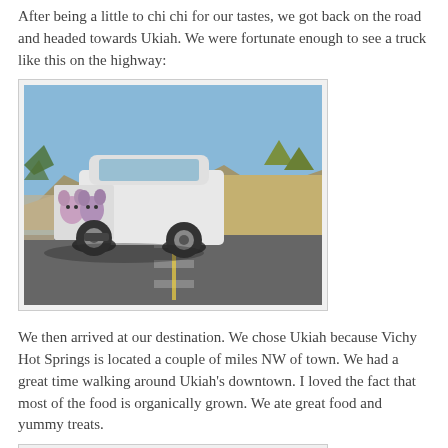After being a little to chi chi for our tastes, we got back on the road and headed towards Ukiah. We were fortunate enough to see a truck like this on the highway:
[Figure (photo): A white pickup truck seen from behind on a highway, with decorative graphics on the tailgate, mountains and blue sky in the background.]
We then arrived at our destination. We chose Ukiah because Vichy Hot Springs is located a couple of miles NW of town. We had a great time walking around Ukiah's downtown. I loved the fact that most of the food is organically grown. We ate great food and yummy treats.
[Figure (photo): A street art chalk drawing on pavement with red and orange colors, partially visible.]